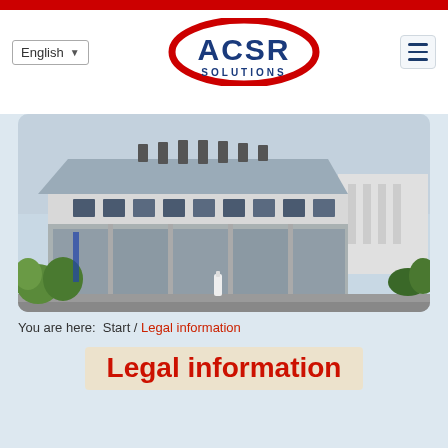[Figure (logo): ACSR Solutions logo — red oval outline with blue ACSR text and SOLUTIONS below]
[Figure (photo): Exterior photo of ACSR Solutions office building — modern two-storey building with glass facade and metal roof, surrounded by greenery and paved area]
You are here:  Start / Legal information
Legal information